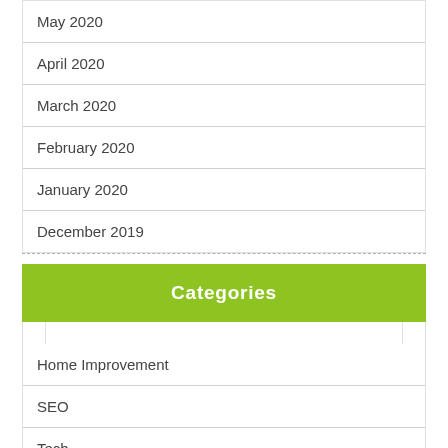May 2020
April 2020
March 2020
February 2020
January 2020
December 2019
Categories
Home Improvement
SEO
Tech